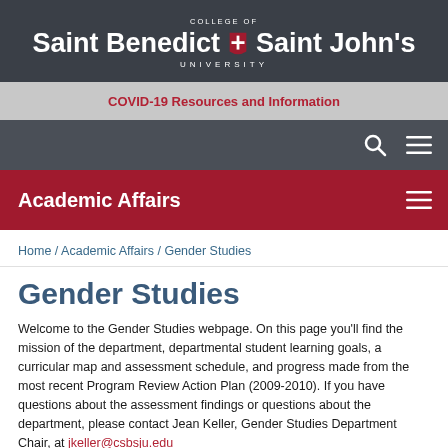COLLEGE OF Saint Benedict + Saint John's UNIVERSITY
COVID-19 Resources and Information
Academic Affairs
Home / Academic Affairs / Gender Studies
Gender Studies
Welcome to the Gender Studies webpage. On this page you'll find the mission of the department, departmental student learning goals, a curricular map and assessment schedule, and progress made from the most recent Program Review Action Plan (2009-2010). If you have questions about the assessment findings or questions about the department, please contact Jean Keller, Gender Studies Department Chair, at jkeller@csbsju.edu